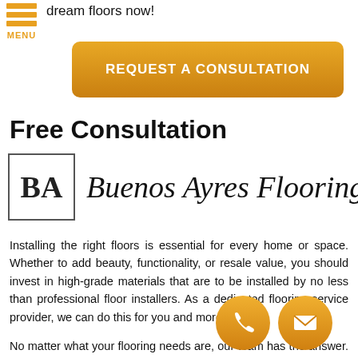[Figure (logo): Orange hamburger menu icon with three horizontal lines and MENU label]
dream floors now!
[Figure (other): Orange rounded rectangle button with text REQUEST A CONSULTATION]
Free Consultation
[Figure (logo): Buenos Ayres Flooring logo with BA monogram box and cursive script name]
Installing the right floors is essential for every home or space. Whether to add beauty, functionality, or resale value, you should invest in high-grade materials that are to be installed by no less than professional floor installers. As a dedicated flooring service provider, we can do this for you and more!
No matter what your flooring needs are, our team has the answer. Let our professional flooring specialists share their work. We ensure that your specifications will be met and
[Figure (other): Orange circular phone icon]
[Figure (other): Orange circular email/envelope icon]